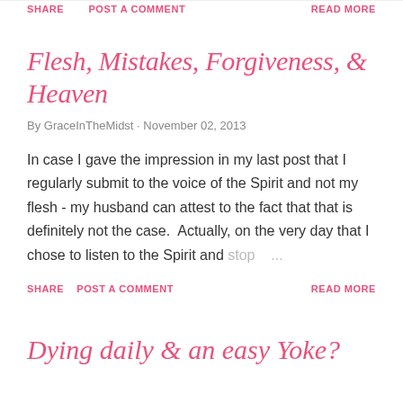SHARE   POST A COMMENT   READ MORE
Flesh, Mistakes, Forgiveness, & Heaven
By GraceInTheMidst · November 02, 2013
In case I gave the impression in my last post that I regularly submit to the voice of the Spirit and not my flesh - my husband can attest to the fact that that is definitely not the case.  Actually, on the very day that I chose to listen to the Spirit and stop ...
SHARE   POST A COMMENT   READ MORE
Dying daily & an easy Yoke?